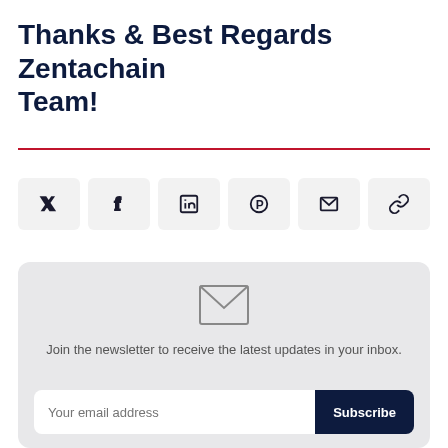Thanks & Best Regards Zentachain Team!
[Figure (infographic): Row of six social share buttons: Twitter (𝕏), Facebook (f), LinkedIn (in), Pinterest (P with circle), Email (envelope icon), Link (chain icon)]
[Figure (infographic): Newsletter signup box with envelope icon, text 'Join the newsletter to receive the latest updates in your inbox.', an email input field placeholder 'Your email address', and a Subscribe button]